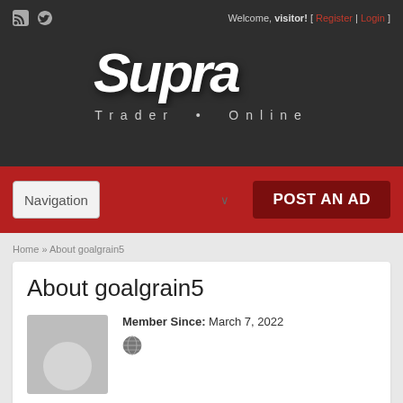Welcome, visitor! [ Register | Login ]
[Figure (logo): Supra Trader Online logo — handwritten white 'Supra' text over dark background with 'Trader Online' subtitle]
Navigation (dropdown) | POST AN AD
Home » About goalgrain5
About goalgrain5
Member Since: March 7, 2022
[Figure (illustration): Globe/website icon]